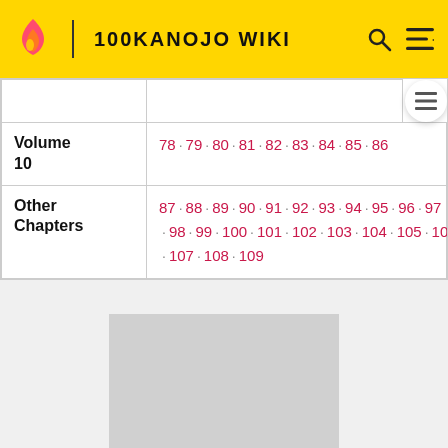100KANOJO WIKI
|  |  |
| --- | --- |
| Volume 10 | 78 · 79 · 80 · 81 · 82 · 83 · 84 · 85 · 86 |
| Other Chapters | 87 · 88 · 89 · 90 · 91 · 92 · 93 · 94 · 95 · 96 · 97 · 98 · 99 · 100 · 101 · 102 · 103 · 104 · 105 · 106 · 107 · 108 · 109 |
[Figure (other): Gray placeholder image block]